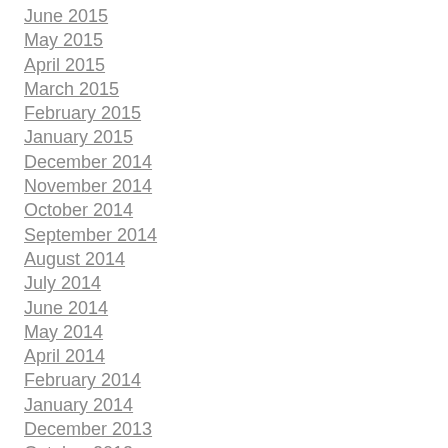June 2015
May 2015
April 2015
March 2015
February 2015
January 2015
December 2014
November 2014
October 2014
September 2014
August 2014
July 2014
June 2014
May 2014
April 2014
February 2014
January 2014
December 2013
October 2013